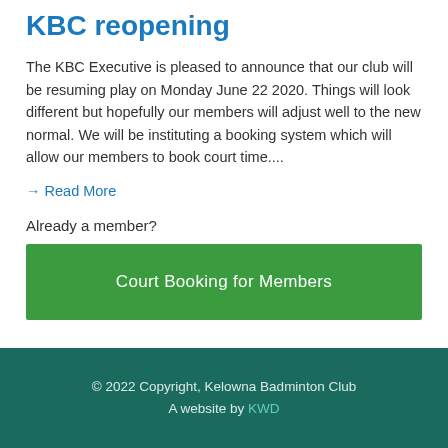KBC reopening
The KBC Executive is pleased to announce that our club will be resuming play on Monday June 22 2020. Things will look different but hopefully our members will adjust well to the new normal. We will be instituting a booking system which will allow our members to book court time....
→ Read More
Already a member?
Court Booking for Members
© 2022 Copyright, Kelowna Badminton Club A website by KWD